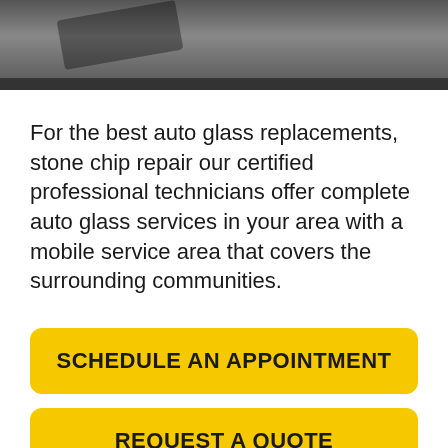[Figure (photo): A person working on auto glass repair/replacement, dark background with hands and tools visible]
For the best auto glass replacements, stone chip repair our certified professional technicians offer complete auto glass services in your area with a mobile service area that covers the surrounding communities.
SCHEDULE AN APPOINTMENT
REQUEST A QUOTE